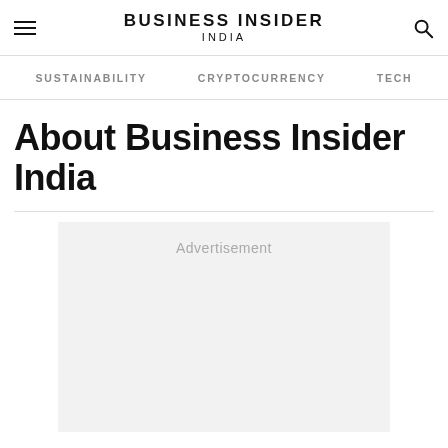BUSINESS INSIDER INDIA
SUSTAINABILITY   CRYPTOCURRENCY   TECH
About Business Insider India
[Figure (other): Advertisement placeholder box with light gray background and 'Advertisement' label text]